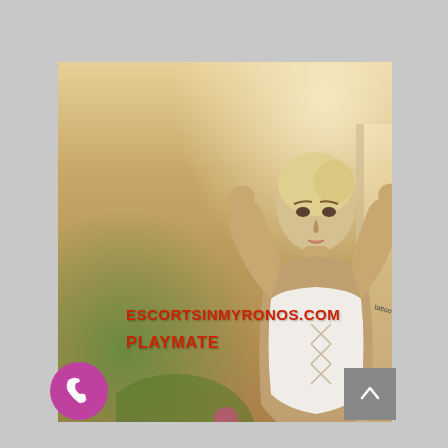[Figure (photo): Photo of a blonde woman with arms raised behind her head, wearing a white sports bra top with lattice detail, standing near a window with natural light and greenery visible in the background. Watermark text overlaid in dark red reads 'ESCORTSINYRONOS.COM', 'PLAYMATE', and 'VIPESCORTSGIRLS.COM'.]
ESCORTSINMYRONOS.COM
PLAYMATE
VIPESCORTSGIRLS.COM